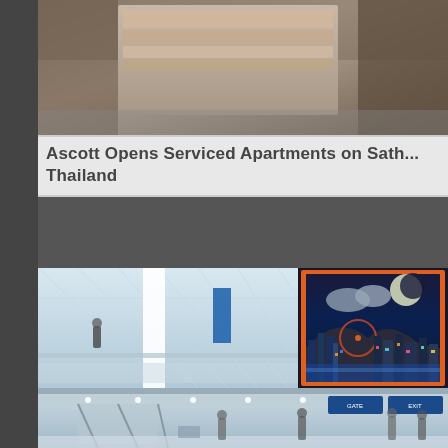[Figure (photo): Top photo showing interior of a room or building, blurred/artistic, with warm tones and painted artwork visible on wall]
Ascott Opens Serviced Apartments on Sath... Thailand
[Figure (photo): Two-part composite image: left side shows modern airport terminal interior with high geodesic ceiling, glass railings, escalators, and people; right side shows illuminated city nightscape artwork/advertisement display with moon, clouds, buildings and colorful lights]
[Figure (photo): Bottom photo showing airport terminal interior with escalators, glass railings, people walking, blue airport signage visible in background]